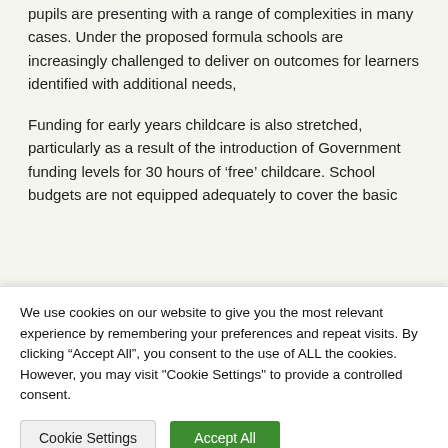pupils are presenting with a range of complexities in many cases. Under the proposed formula schools are increasingly challenged to deliver on outcomes for learners identified with additional needs,
Funding for early years childcare is also stretched, particularly as a result of the introduction of Government funding levels for 30 hours of ‘free’ childcare. School budgets are not equipped adequately to cover the basic
We use cookies on our website to give you the most relevant experience by remembering your preferences and repeat visits. By clicking “Accept All”, you consent to the use of ALL the cookies. However, you may visit "Cookie Settings" to provide a controlled consent.